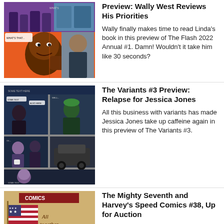[Figure (illustration): Comic book panels showing a scene with characters, one large panel of an angry man pointing at the viewer with orange background]
Preview: Wally West Reviews His Priorities
Wally finally makes time to read Linda's book in this preview of The Flash 2022 Annual #1. Damn! Wouldn't it take him like 30 seconds?
[Figure (illustration): Comic book panels showing characters in dark blue tones, Jessica Jones variant scenes with a green-haired character and coffee mug]
The Variants #3 Preview: Relapse for Jessica Jones
All this business with variants has made Jessica Jones take up caffeine again in this preview of The Variants #3.
[Figure (illustration): Vintage comic book cover or art showing an American flag and text 'All together...' with retro illustration style]
The Mighty Seventh and Harvey's Speed Comics #38, Up for Auction